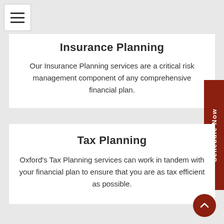[Figure (other): Hamburger menu icon with three horizontal lines]
Insurance Planning
Our Insurance Planning services are a critical risk management component of any comprehensive financial plan.
Tax Planning
Oxford's Tax Planning services can work in tandem with your financial plan to ensure that you are as tax efficient as possible.